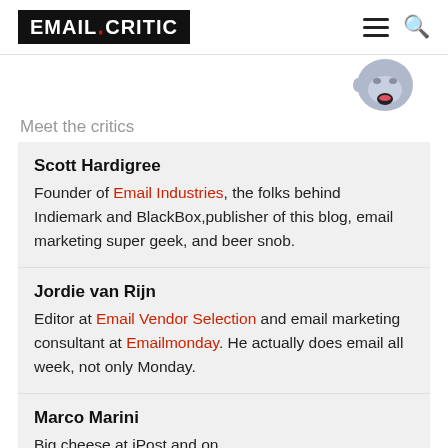EMAIL CRITIC
[Figure (illustration): Cartoon mascot character partially visible at top right]
Meet the critics
Scott Hardigree – Founder of Email Industries, the folks behind Indiemark and BlackBox, publisher of this blog, email marketing super geek, and beer snob.
Jordie van Rijn – Editor at Email Vendor Selection and email marketing consultant at Emailmonday. He actually does email all week, not only Monday.
Marco Marini – Big cheese at iPost and on…